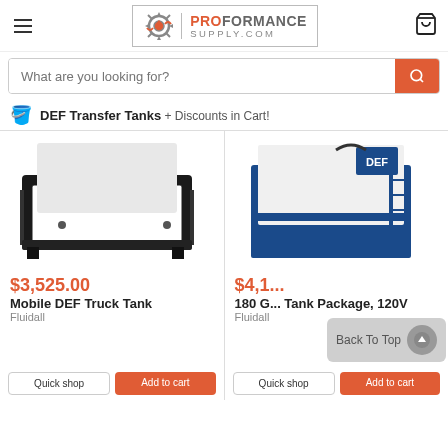ProFormance Supply.com
What are you looking for?
DEF Transfer Tanks + Discounts in Cart!
[Figure (photo): Mobile DEF Truck Tank product image - black metal frame holding a white tank]
$3,525.00
Mobile DEF Truck Tank
Fluidall
[Figure (photo): 180 Gallon DEF Tank Package 120V product image - blue metal frame with white tank labeled DEF]
$4,1...
180 G... Tank Package, 120V
Fluidall
Back To Top
Quick shop
Add to cart
Quick shop
Add to cart